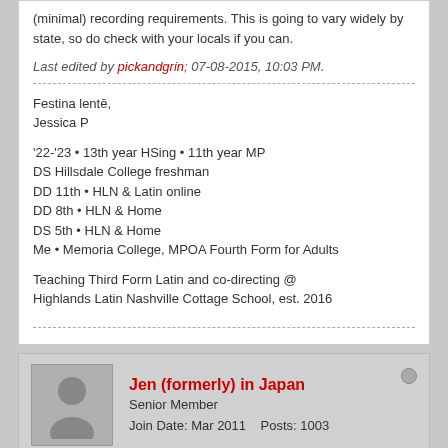(minimal) recording requirements. This is going to vary widely by state, so do check with your locals if you can.
Last edited by pickandgrin; 07-08-2015, 10:03 PM.
Festina lentē,
Jessica P
'22-'23 • 13th year HSing • 11th year MP
DS Hillsdale College freshman
DD 11th • HLN & Latin online
DD 8th • HLN & Home
DS 5th • HLN & Home
Me • Memoria College, MPOA Fourth Form for Adults
Teaching Third Form Latin and co-directing @ Highlands Latin Nashville Cottage School, est. 2016
Jen (formerly) in Japan
Senior Member
Join Date: Mar 2011    Posts: 1003
07-08-2015, 08:05 PM
#3